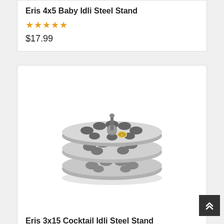Eris 4x5 Baby Idli Steel Stand
☆☆☆☆☆
$17.99
[Figure (photo): Stainless steel idli stand with multiple tiers showing circular molds, viewed from above at an angle.]
Eris 3x15 Cocktail Idli Steel Stand
☆☆☆☆☆
$13.99